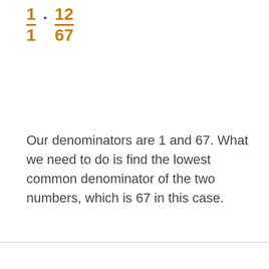Our denominators are 1 and 67. What we need to do is find the lowest common denominator of the two numbers, which is 67 in this case.